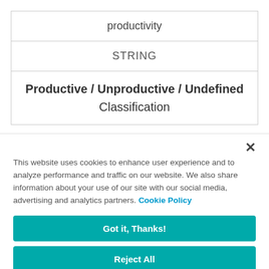| productivity |
| STRING |
| Productive / Unproductive / Undefined
Classification |
This website uses cookies to enhance user experience and to analyze performance and traffic on our website. We also share information about your use of our site with our social media, advertising and analytics partners. Cookie Policy
Got it, Thanks!
Reject All
Cookies Settings